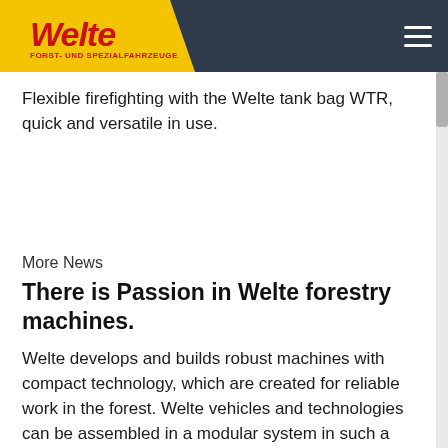Welte - Forst- und Spezialfahrzeuge
Flexible firefighting with the Welte tank bag WTR, quick and versatile in use.
More News
There is Passion in Welte forestry machines.
Welte develops and builds robust machines with compact technology, which are created for reliable work in the forest. Welte vehicles and technologies can be assembled in a modular system in such a